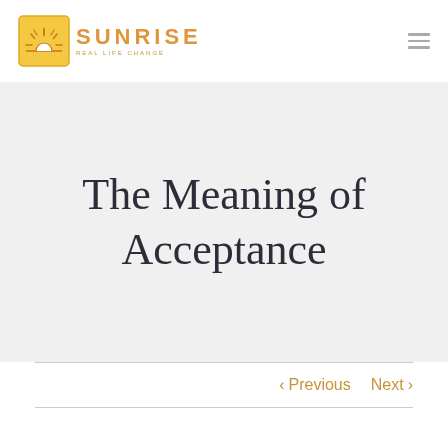SUNRISE — REAL LIFE CHANGE
The Meaning of Acceptance
< Previous   Next >